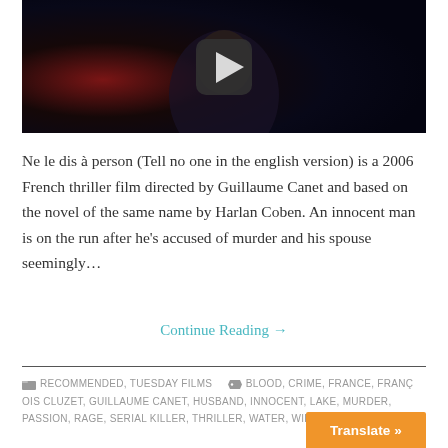[Figure (screenshot): Video thumbnail showing a dark scene with a man's face partially visible, with a play button overlay in the center]
Ne le dis à person (Tell no one in the english version) is a 2006 French thriller film directed by Guillaume Canet and based on the novel of the same name by Harlan Coben. An innocent man is on the run after he's accused of murder and his spouse seemingly…
Continue Reading →
RECOMMENDED, TUESDAY FILMS   BLOOD, CRIME, FRANCE, FRANÇOIS CLUZET, GUILLAUME CANET, HUSBAND, INNOCENT, LAKE, MURDER, PASSION, RAGE, SERIAL KILLER, THRILLER, WATER, WIFE
[Figure (other): Orange Translate button at bottom right]